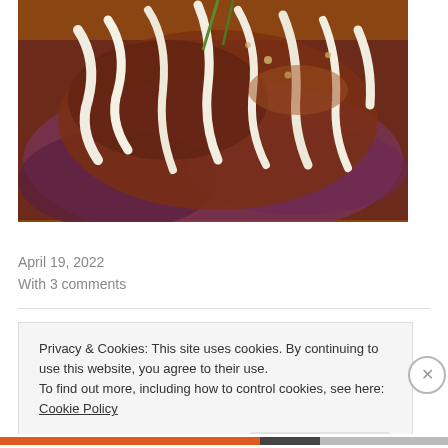[Figure (photo): Close-up photo of a grilled meat dish topped with fried onion strings and garnished with green onions, served on a plate.]
TV Food & Home Food 🍴
April 19, 2022
With 3 comments
Privacy & Cookies: This site uses cookies. By continuing to use this website, you agree to their use.
To find out more, including how to control cookies, see here: Cookie Policy
Close and accept